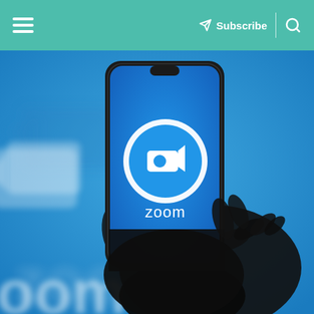≡  Subscribe  🔍
[Figure (photo): A silhouetted hand holding a smartphone displaying the Zoom app icon (a white video camera in a white circle) and the word 'zoom' in white text on a blue background. The background shows a large blurred Zoom logo in blue and white.]